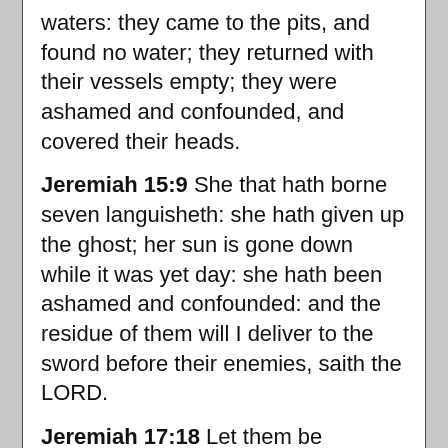waters: they came to the pits, and found no water; they returned with their vessels empty; they were ashamed and confounded, and covered their heads.
Jeremiah 15:9  She that hath borne seven languisheth: she hath given up the ghost; her sun is gone down while it was yet day: she hath been ashamed and confounded: and the residue of them will I deliver to the sword before their enemies, saith the LORD.
Jeremiah 17:18  Let them be